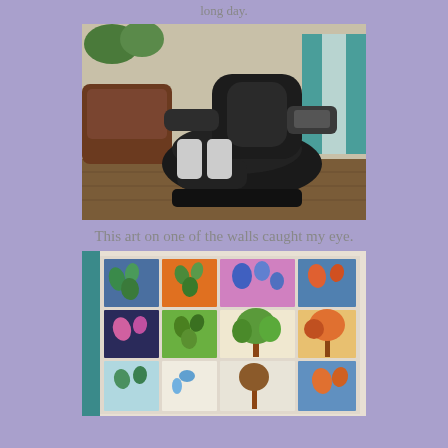long day.
[Figure (photo): A black massage chair in a living room with wood floors, plants and teal curtains in the background]
This art on one of the walls caught my eye.
[Figure (photo): A wall display of colorful children's art paintings showing trees, leaves, flowers and nature scenes arranged in a grid]